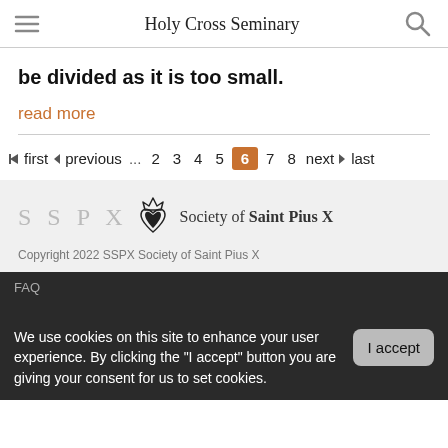Holy Cross Seminary
be divided as it is too small.
read more
first previous ... 2 3 4 5 6 7 8 next last
[Figure (logo): SSPX Society of Saint Pius X logo with emblem]
Copyright 2022 SSPX Society of Saint Pius X
FAQ
We use cookies on this site to enhance your user experience. By clicking the "I accept" button you are giving your consent for us to set cookies.